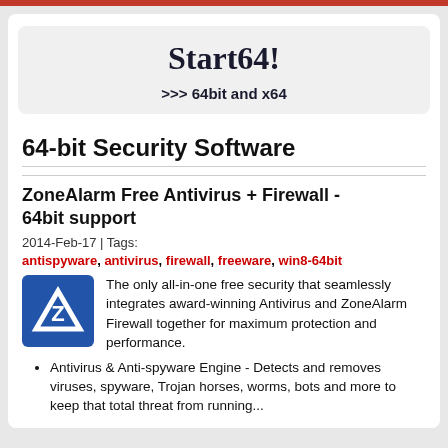Start64!
>>> 64bit and x64
64-bit Security Software
ZoneAlarm Free Antivirus + Firewall - 64bit support
2014-Feb-17 | Tags:
antispyware, antivirus, firewall, freeware, win8-64bit
[Figure (logo): ZoneAlarm logo: blue square with white Z letter and triangle]
The only all-in-one free security that seamlessly integrates award-winning Antivirus and ZoneAlarm Firewall together for maximum protection and performance.
Antivirus & Anti-spyware Engine - Detects and removes viruses, spyware, Trojan horses, worms, bots and more to keep that total threat from running...